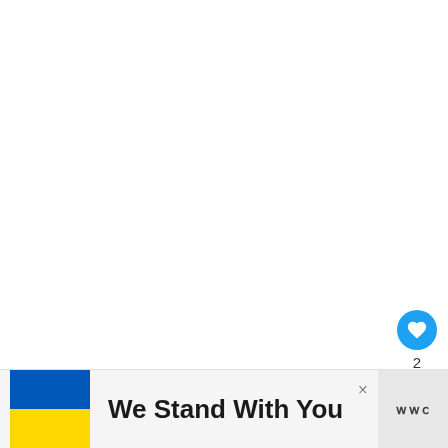Only one of those 57 deliveries b... minimum base pay of $2.50. Overall the
[Figure (screenshot): Like button (heart icon in blue circle) with count of 2, and share button below]
[Figure (screenshot): WHAT'S NEXT overlay card with thumbnail image and text 'Does Doordash P...']
[Figure (infographic): Advertisement banner with Ukrainian flag (blue and yellow), text 'We Stand With You', close button X, and logo on right]